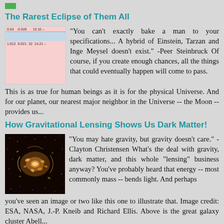The Rarest Eclipse of Them All
[Figure (table-as-image): Pink table-like chart with numerical data rows, values like 0.04, -0.928, 16.16, 1.012, 0.021, 32, 14.21]
"You can't exactly bake a man to your specifications... A hybrid of Einstein, Tarzan and Inge Meysel doesn't exist." -Peer Steinbruck Of course, if you create enough chances, all the things that could eventually happen will come to pass. This is as true for human beings as it is for the physical Universe. And for our planet, our nearest major neighbor in the Universe -- the Moon -- provides us...
How Gravitational Lensing Shows Us Dark Matter!
[Figure (photo): Photo of galaxy cluster Abell showing gravitational lensing, dark background with orange/golden galaxies and star streaks]
"You may hate gravity, but gravity doesn't care." -Clayton Christensen What's the deal with gravity, dark matter, and this whole "lensing" business anyway? You've probably heard that energy -- most commonly mass -- bends light. And perhaps you've seen an image or two like this one to illustrate that. Image credit: ESA, NASA, J.-P. Kneib and Richard Ellis. Above is the great galaxy cluster Abell...
Practically Everything Leaves Something Behind
[Figure (photo): Dark/black image, partial view at bottom of page]
"Everyone must leave something behind when he...